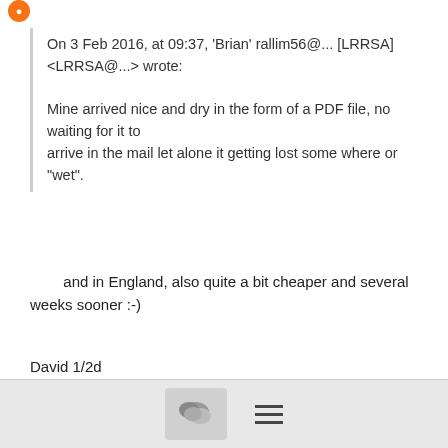[Figure (illustration): Orange avatar/logo icon at top left]
On 3 Feb 2016, at 09:37, 'Brian' rallim56@... [LRRSA] <LRRSA@...> wrote:

Mine arrived nice and dry in the form of a PDF file, no waiting for it to
arrive in the mail let alone it getting lost some where or
"wet".
and in England, also quite a bit cheaper and several weeks sooner :-)
David 1/2d
≡ More
Re: Light Railways No.247 posted